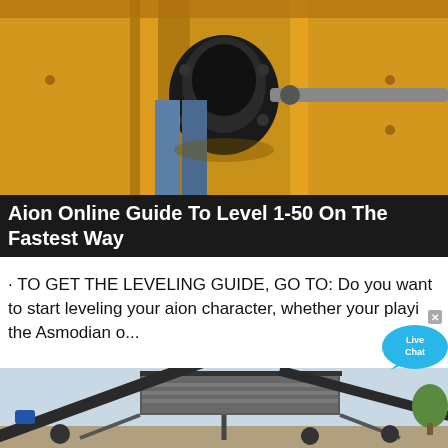[Figure (photo): Close-up of yellow industrial crushing/mining machinery with black rubber coupling component visible, person in jeans standing nearby]
Aion Online Guide To Level 1-50 On The Fastest Way
· TO GET THE LEVELING GUIDE, GO TO: Do you want to start leveling your aion character, whether your playing the Asmodian o...
[Figure (illustration): Live Chat speech bubble overlay icon in blue/teal]
[Figure (photo): Outdoor photo of large industrial conveyor belt / screening plant on wheels, with trees visible in background]